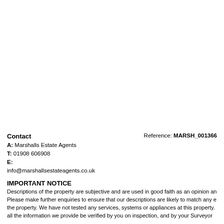Contact
A: Marshalls Estate Agents
T: 01908 606908
E:
info@marshallsestateagents.co.uk
Reference: MARSH_001366
IMPORTANT NOTICE
Descriptions of the property are subjective and are used in good faith as an opinion and not as a statement of fact. Please make further enquiries to ensure that our descriptions are likely to match any expectations you may have of the property. We have not tested any services, systems or appliances at this property. We strongly recommend that all the information we provide be verified by you on inspection, and by your Surveyor and Solicitor prior to exchange.